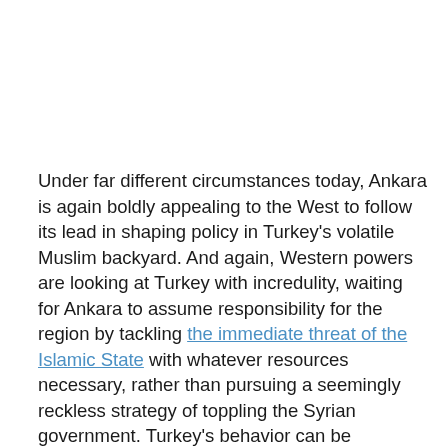Under far different circumstances today, Ankara is again boldly appealing to the West to follow its lead in shaping policy in Turkey's volatile Muslim backyard. And again, Western powers are looking at Turkey with incredulity, waiting for Ankara to assume responsibility for the region by tackling the immediate threat of the Islamic State with whatever resources necessary, rather than pursuing a seemingly reckless strategy of toppling the Syrian government. Turkey's behavior can be perplexing and frustrating to Western leaders, but the country's combination of reticence in action and audacity in rhetoric